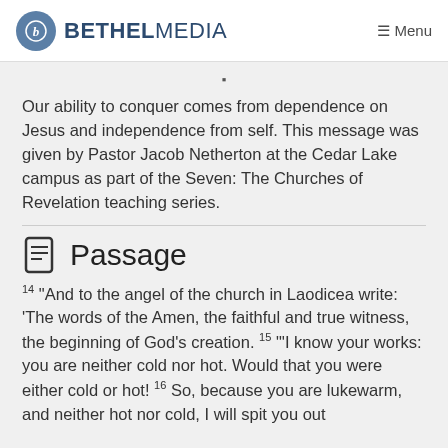BETHEL MEDIA   ≡ Menu
Our ability to conquer comes from dependence on Jesus and independence from self. This message was given by Pastor Jacob Netherton at the Cedar Lake campus as part of the Seven: The Churches of Revelation teaching series.
Passage
14 "And to the angel of the church in Laodicea write: 'The words of the Amen, the faithful and true witness, the beginning of God's creation. 15 "'I know your works: you are neither cold nor hot. Would that you were either cold or hot! 16 So, because you are lukewarm, and neither hot nor cold, I will spit you out